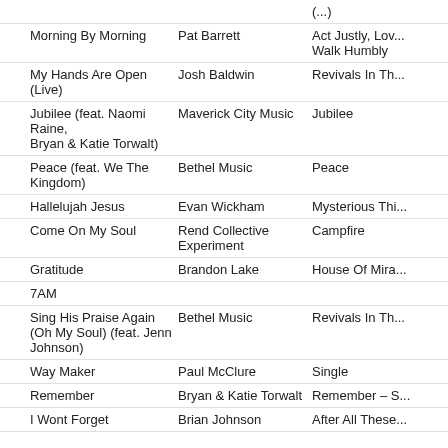| Song | Artist | Album |
| --- | --- | --- |
| Morning By Morning | Pat Barrett | Act Justly, Lov... Walk Humbly |
| My Hands Are Open (Live) | Josh Baldwin | Revivals In Th... |
| Jubilee (feat. Naomi Raine, Bryan & Katie Torwalt) | Maverick City Music | Jubilee |
| Peace (feat. We The Kingdom) | Bethel Music | Peace |
| Hallelujah Jesus | Evan Wickham | Mysterious Thi... |
| Come On My Soul | Rend Collective Experiment | Campfire |
| Gratitude | Brandon Lake | House Of Mira... |
| 7AM |  |  |
| Sing His Praise Again (Oh My Soul) (feat. Jenn Johnson) | Bethel Music | Revivals In Th... |
| Way Maker | Paul McClure | Single |
| Remember | Bryan & Katie Torwalt | Remember – S... |
| I Wont Forget | Brian Johnson | After All These... |